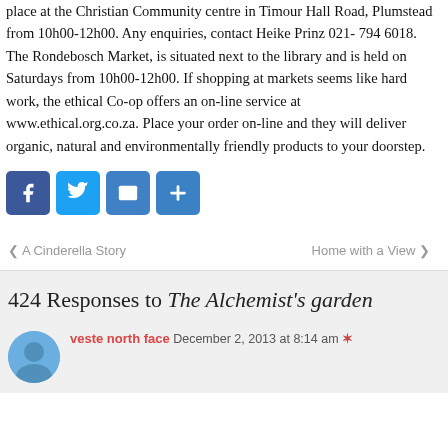place at the Christian Community centre in Timour Hall Road, Plumstead from 10h00-12h00. Any enquiries, contact Heike Prinz 021- 794 6018. The Rondebosch Market, is situated next to the library and is held on Saturdays from 10h00-12h00. If shopping at markets seems like hard work, the ethical Co-op offers an on-line service at www.ethical.org.co.za. Place your order on-line and they will deliver organic, natural and environmentally friendly products to your doorstep.
[Figure (other): Social sharing icons: Facebook, Twitter, Email, Share (plus sign)]
❮ A Cinderella Story   Home with a View ❯
424 Responses to The Alchemist's garden
veste north face  December 2, 2013 at 8:14 am